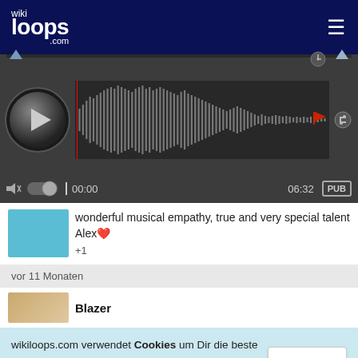[Figure (screenshot): wikiloops.com website header with logo and hamburger menu on dark navy background]
[Figure (screenshot): Audio player with play button, waveform visualization, timeline showing 00:00 to 06:32, volume control, PUB badge, and settings gear icon]
wonderful musical empathy, true and very special talent Alex❤️ +1
vor 11 Monaten
Blazer
wikiloops.com verwendet Cookies um Dir die beste Nutzererfahrung zu ermöglichen. Lies mehr in unseren Datenschutzbestimmungen .